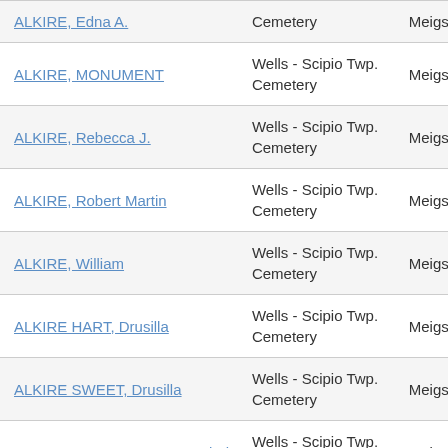| Name | Cemetery | County |
| --- | --- | --- |
| ALKIRE, Edna A. | Cemetery | Meigs |
| ALKIRE, MONUMENT | Wells - Scipio Twp. Cemetery | Meigs |
| ALKIRE, Rebecca J. | Wells - Scipio Twp. Cemetery | Meigs |
| ALKIRE, Robert Martin | Wells - Scipio Twp. Cemetery | Meigs |
| ALKIRE, William | Wells - Scipio Twp. Cemetery | Meigs |
| ALKIRE HART, Drusilla | Wells - Scipio Twp. Cemetery | Meigs |
| ALKIRE SWEET, Drusilla | Wells - Scipio Twp. Cemetery | Meigs |
| ALKIRE WILSON, Norma Mabel | Wells - Scipio Twp. Cemetery | Meigs |
| ANTHONY, Hannah J. | Wells - Scipio Twp. Cemetery | Meigs |
| (next entry) | Wells - Scipio Twp. |  |